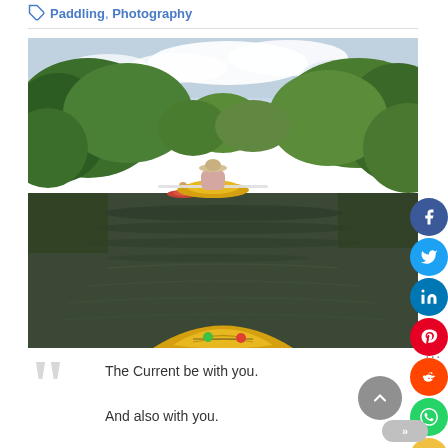Paddling, Photography
[Figure (photo): Group of kayakers paddling down a narrow river surrounded by dense green trees and vegetation. A yellow kayak is in the foreground with the bow visible at the bottom, and another paddler ahead in a yellow kayak. More kayakers are visible in the background on the calm dark water.]
The Current be with you.

And also with you.